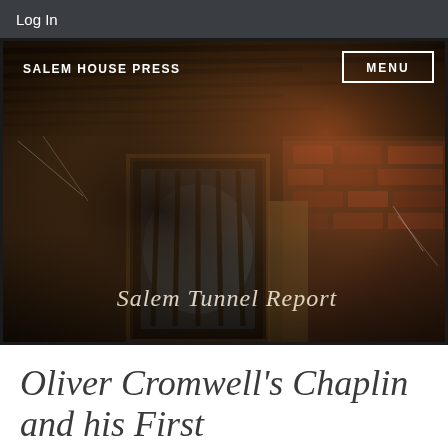Log In
[Figure (photo): Dark interior photo of a brick tunnel or basement with a wooden door, cobwebs, and deteriorating brick walls. Text overlay reads 'Salem Tunnel Report'. Header shows 'SALEM HOUSE PRESS' on the left and 'MENU' button on the right.]
Oliver Cromwell's Chaplin and his First